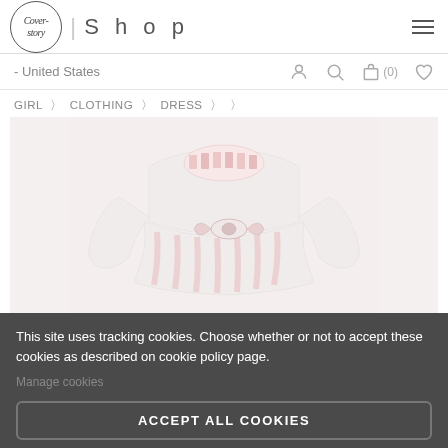[Figure (logo): Cover-story logo in oval with text 'Cover-story' in italic script, followed by '| Shop' text and hamburger menu icon]
- United States
GIRL  〉  CLOTHING  〉  DRESS  〉  〉
[Figure (photo): A white/pink girls' dress with long sleeves, ruffled skirt with bow decorations, and decorative collar with pink pattern]
This site uses tracking cookies. Choose whether or not to accept these cookies as described on cookie policy page.
Manage cookies
ACCEPT ALL COOKIES
ACCEPT ONLY TECHNICAL COOKIES